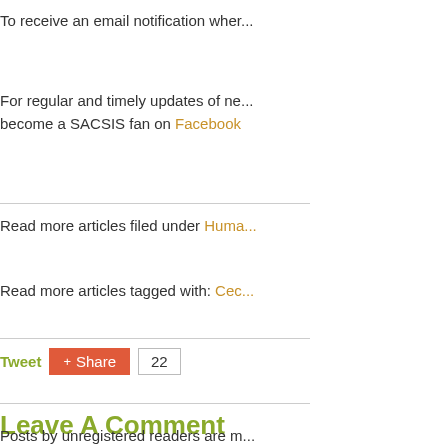To receive an email notification wher...
For regular and timely updates of ne... become a SACSIS fan on Facebook
Read more articles filed under Huma...
Read more articles tagged with: Cec...
Tweet   Share 22
Leave A Comment
Posts by unregistered readers are m... Register now or log in!
Comments
david5179 ✓  Moments
23 Mar
"These momen...
Today in 1933 t... dictator of Gern...